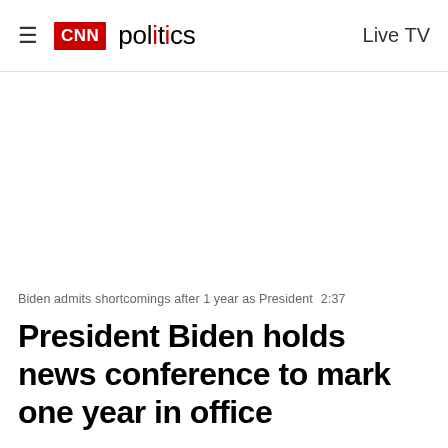CNN politics  Live TV
[Figure (other): Advertisement or video placeholder area (blank white space)]
Biden admits shortcomings after 1 year as President  2:37
President Biden holds news conference to mark one year in office